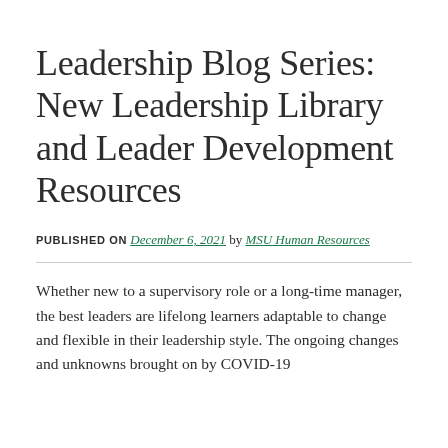Leadership Blog Series: New Leadership Library and Leader Development Resources
PUBLISHED ON December 6, 2021 by MSU Human Resources
Whether new to a supervisory role or a long-time manager, the best leaders are lifelong learners adaptable to change and flexible in their leadership style. The ongoing changes and unknowns brought on by COVID-19